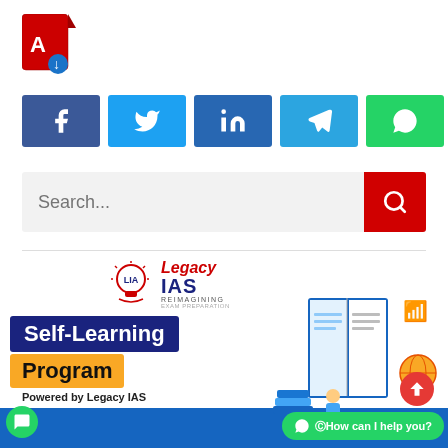[Figure (logo): Adobe PDF download icon — red document with Acrobat logo and download arrow]
[Figure (infographic): Social media sharing buttons row: Facebook (dark blue), Twitter (light blue), LinkedIn (dark blue), Telegram (cyan blue), WhatsApp (green)]
[Figure (screenshot): Search bar with placeholder text 'Search...' and red search button on right]
[Figure (infographic): Legacy IAS Self-Learning Program banner with logo, book illustration, text labels 'Self-Learning' and 'Program', 'Powered by Legacy IAS', WhatsApp help button]